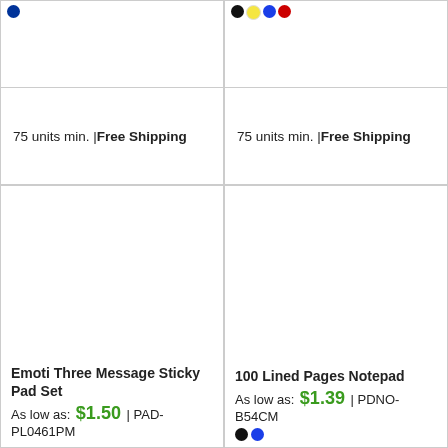[Figure (other): Product image area (top-left card) with blue color swatch dot]
75 units min. | Free Shipping
[Figure (other): Product image area (top-right card) with black, yellow, blue, red color swatch dots]
75 units min. | Free Shipping
[Figure (other): Product image area (bottom-left card) - Emoti Three Message Sticky Pad Set]
Emoti Three Message Sticky Pad Set
As low as: $1.50 | PAD-PL0461PM
[Figure (other): Product image area (bottom-right card) - 100 Lined Pages Notepad]
100 Lined Pages Notepad
As low as: $1.39 | PDNO-B54CM